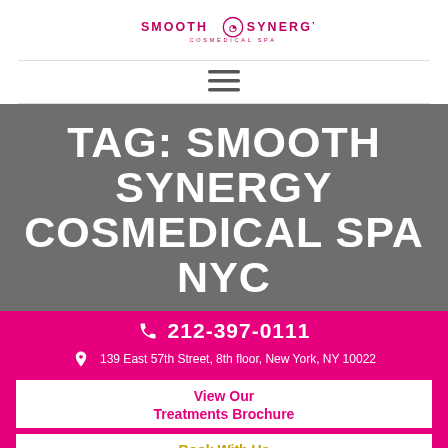[Figure (logo): Smooth Synergy Cosmedical Spa logo with pink swirl icon and text]
[Figure (other): Hamburger menu icon (three horizontal lines)]
TAG: SMOOTH SYNERGY COSMEDICAL SPA NYC
212-397-0111
139 East 57th Street, 8th floor, New York, NY 10022
View Our Treatments Brochure
Book With Us
[Figure (other): Social media icons: Instagram, Facebook, Twitter, Pinterest]